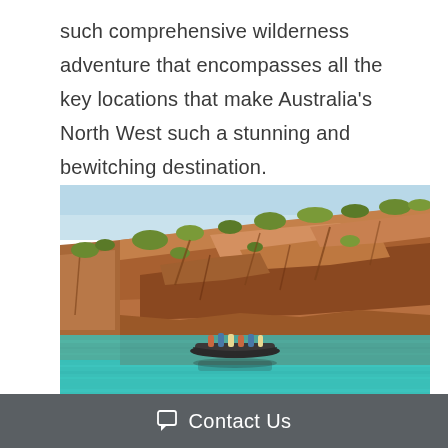such comprehensive wilderness adventure that encompasses all the key locations that make Australia's North West such a stunning and bewitching destination.
[Figure (photo): A small boat with passengers floats on vivid turquoise water in front of dramatic orange-red rocky cliff faces covered with sparse green vegetation, likely in the Kimberley region of Western Australia.]
Contact Us